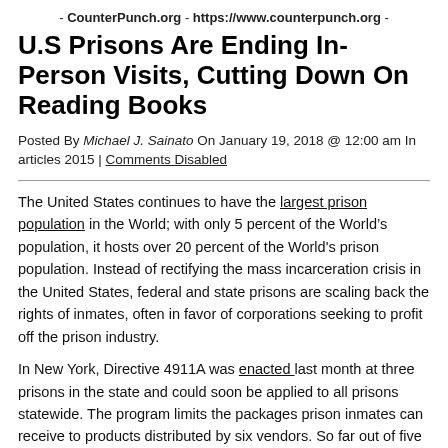- CounterPunch.org - https://www.counterpunch.org -
U.S Prisons Are Ending In-Person Visits, Cutting Down On Reading Books
Posted By Michael J. Sainato On January 19, 2018 @ 12:00 am In articles 2015 | Comments Disabled
The United States continues to have the largest prison population in the World; with only 5 percent of the World’s population, it hosts over 20 percent of the World's prison population. Instead of rectifying the mass incarceration crisis in the United States, federal and state prisons are scaling back the rights of inmates, often in favor of corporations seeking to profit off the prison industry.
In New York, Directive 4911A was enacted last month at three prisons in the state and could soon be applied to all prisons statewide. The program limits the packages prison inmates can receive to products distributed by six vendors. So far out of five vendors with available product lists, only 77 different books